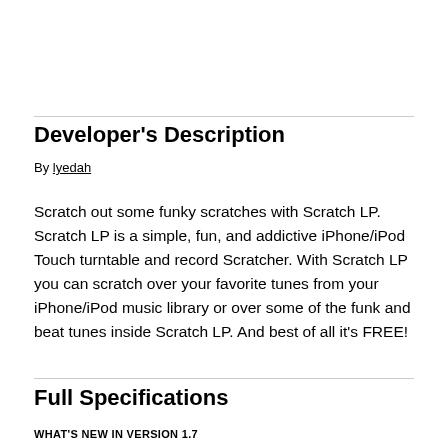Developer's Description
By lyedah
Scratch out some funky scratches with Scratch LP. Scratch LP is a simple, fun, and addictive iPhone/iPod Touch turntable and record Scratcher. With Scratch LP you can scratch over your favorite tunes from your iPhone/iPod music library or over some of the funk and beat tunes inside Scratch LP. And best of all it's FREE!
Full Specifications
WHAT'S NEW IN VERSION 1.7